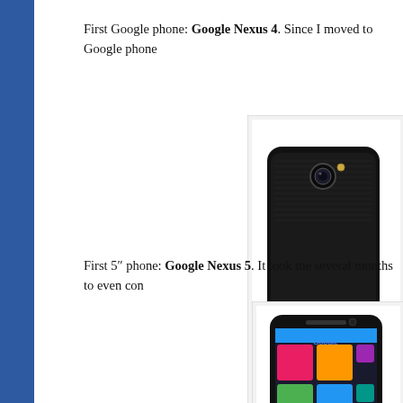First Google phone: Google Nexus 4. Since I moved to Google phone
[Figure (photo): Google Nexus 4 smartphone shown from the back, black textured design with camera lens visible, displayed against white background in a framed box]
First 5" phone: Google Nexus 5. It took me several months to even con
[Figure (photo): Google Nexus 5 smartphone shown from the front, colorful Android home screen visible with Google branding, black device, displayed against white background in a framed box]